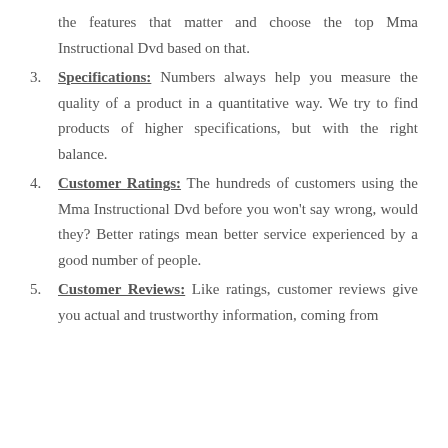the features that matter and choose the top Mma Instructional Dvd based on that.
3. Specifications: Numbers always help you measure the quality of a product in a quantitative way. We try to find products of higher specifications, but with the right balance.
4. Customer Ratings: The hundreds of customers using the Mma Instructional Dvd before you won’t say wrong, would they? Better ratings mean better service experienced by a good number of people.
5. Customer Reviews: Like ratings, customer reviews give you actual and trustworthy information, coming from